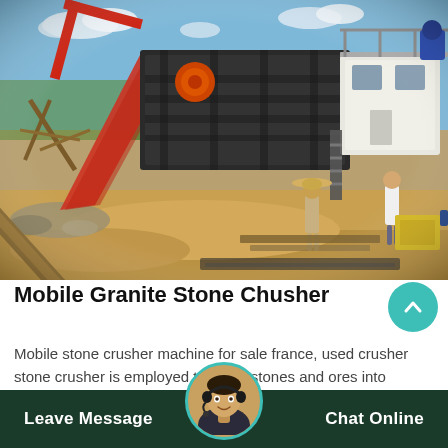[Figure (photo): Outdoor mobile stone crusher / aggregate processing plant at a construction or mining site. Large yellow conveyor belts, metal screens, a white control cabin, and workers in the background on sandy terrain under a blue sky.]
Mobile Granite Stone Chusher
Mobile stone crusher machine for sale france, used crusher stone crusher is employed to crush stones and ores into smaller sized siz… or modify the kind on the aggregate rocks such as limestone, quartz,
Leave Message   Chat Online